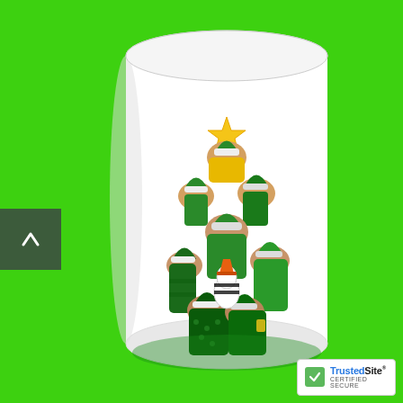[Figure (photo): A white pillar candle with a decorative Christmas gnome/elf tree scene printed on it, showing gnomes stacked in a Christmas tree shape with a yellow star on top. The candle is photographed against a bright green background.]
[Figure (other): Navigation arrow button (upward chevron) on the left side of the image, dark grey semi-transparent background.]
[Figure (logo): TrustedSite Certified Secure badge in the bottom right corner, with green checkmark icon and blue/black text.]